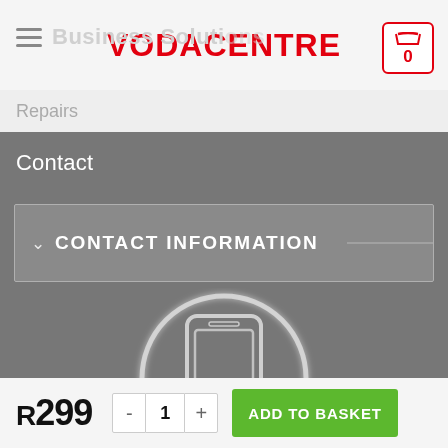VODACENTRE
Business Solutions
Repairs
Contact
CONTACT INFORMATION
[Figure (illustration): White outline icon of a smartphone inside a white outline circle, on a gray background]
R299
1
ADD TO BASKET